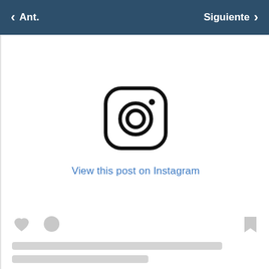< Ant.    Siguiente >
[Figure (screenshot): Instagram embed placeholder showing the Instagram camera logo icon and a link text 'View this post on Instagram' in blue, centered on a white background area, with action bar icons (heart, comment bubble, bookmark) and placeholder text lines at the bottom.]
View this post on Instagram